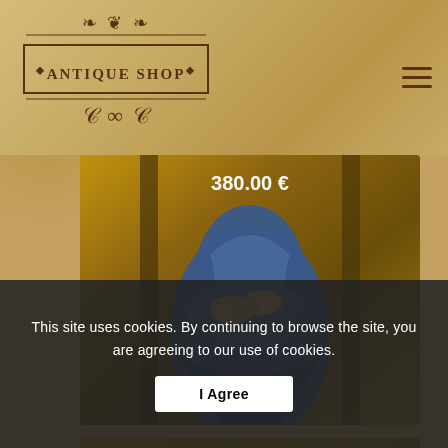[Figure (logo): Antique Shop logo with ornamental border and decorative scrollwork, dark brown on tan background]
[Figure (photo): Close-up of a religious icon painting showing a figure in blue robes with crossed arms, gold background, price overlay reading 380.00 €]
380.00 €
[Figure (photo): Second religious icon painting showing a figure with a golden halo on green background with Cyrillic or Greek lettering]
This site uses cookies. By continuing to browse the site, you are agreeing to our use of cookies.
I Agree